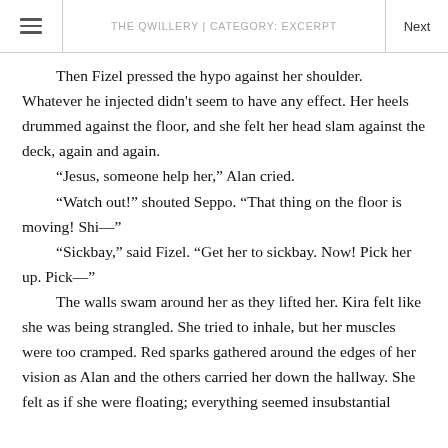THE QWILLERY | CATEGORY: EXCERPT
Then Fizel pressed the hypo against her shoulder. Whatever he injected didn't seem to have any effect. Her heels drummed against the floor, and she felt her head slam against the deck, again and again.

“Jesus, someone help her,” Alan cried.

“Watch out!” shouted Seppo. “That thing on the floor is moving! Shi—”

“Sickbay,” said Fizel. “Get her to sickbay. Now! Pick her up. Pick—”

The walls swam around her as they lifted her. Kira felt like she was being strangled. She tried to inhale, but her muscles were too cramped. Red sparks gathered around the edges of her vision as Alan and the others carried her down the hallway. She felt as if she were floating; everything seemed insubstantial